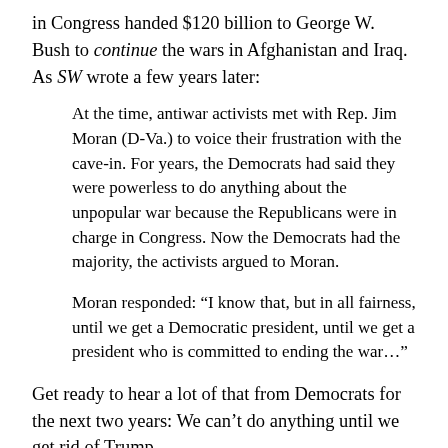in Congress handed $120 billion to George W. Bush to continue the wars in Afghanistan and Iraq. As SW wrote a few years later:
At the time, antiwar activists met with Rep. Jim Moran (D-Va.) to voice their frustration with the cave-in. For years, the Democrats had said they were powerless to do anything about the unpopular war because the Republicans were in charge in Congress. Now the Democrats had the majority, the activists argued to Moran.
Moran responded: “I know that, but in all fairness, until we get a Democratic president, until we get a president who is committed to ending the war…”
Get ready to hear a lot of that from Democrats for the next two years: We can’t do anything until we get rid of Trump.